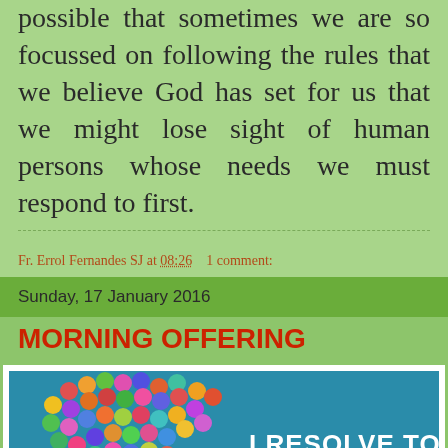possible that sometimes we are so focussed on following the rules that we believe God has set for us that we might lose sight of human persons whose needs we must respond to first.
Fr. Errol Fernandes SJ at 08:26    1 comment:
Sunday, 17 January 2016
MORNING OFFERING
[Figure (photo): Heart-shaped cluster of colorful balloons on a teal/blue background with text 'I RESOLVE TO' in white bold letters]